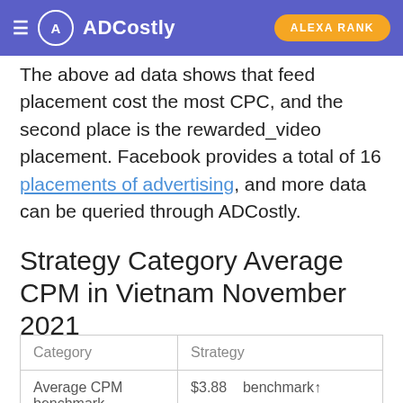ADCostly | ALEXA RANK
The above ad data shows that feed placement cost the most CPC, and the second place is the rewarded_video placement. Facebook provides a total of 16 placements of advertising, and more data can be queried through ADCostly.
Strategy Category Average CPM in Vietnam November 2021
| Category | Strategy |
| --- | --- |
| Average CPM benchmark | $3.88    benchmark↑ |
| Gender - Male | 72.16% greater than benchmark |